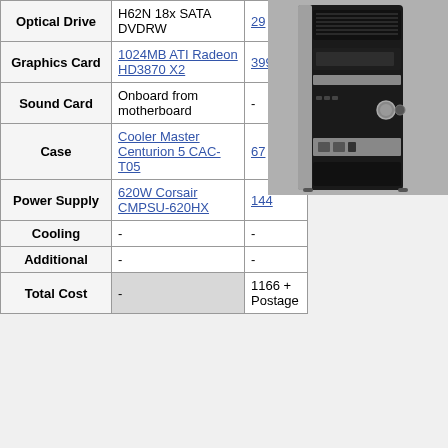| Component | Details | Cost |
| --- | --- | --- |
| Optical Drive | H62N 18x SATA DVDRW | 29 |
| Graphics Card | 1024MB ATI Radeon HD3870 X2 | 399 |
| Sound Card | Onboard from motherboard | - |
| Case | Cooler Master Centurion 5 CAC-T05 | 67 |
| Power Supply | 620W Corsair CMPSU-620HX | 144 |
| Cooling | - | - |
| Additional | - | - |
| Total Cost | - | 1166 + Postage |
[Figure (photo): Black desktop PC tower computer case (Cooler Master Centurion 5) with silver accents, shown from front-right angle. Features visible optical drive bay, front panel ports, and power button.]